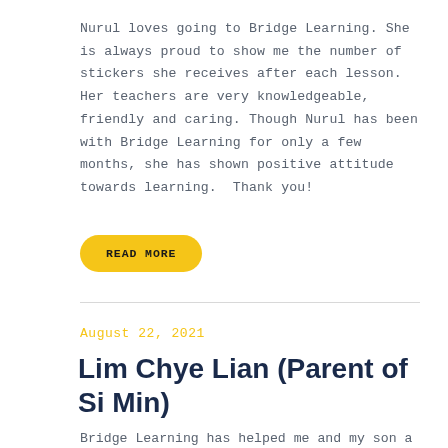Nurul loves going to Bridge Learning. She is always proud to show me the number of stickers she receives after each lesson. Her teachers are very knowledgeable, friendly and caring. Though Nurul has been with Bridge Learning for only a few months, she has shown positive attitude towards learning.  Thank you!
READ MORE
August 22, 2021
Lim Chye Lian (Parent of Si Min)
Bridge Learning has helped me and my son a